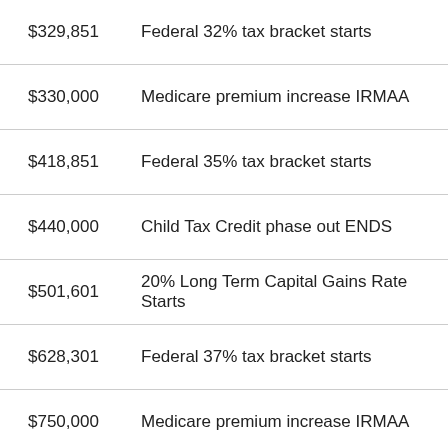$329,851   Federal 32% tax bracket starts
$330,000   Medicare premium increase IRMAA
$418,851   Federal 35% tax bracket starts
$440,000   Child Tax Credit phase out ENDS
$501,601   20% Long Term Capital Gains Rate Starts
$628,301   Federal 37% tax bracket starts
$750,000   Medicare premium increase IRMAA
Filing Status: Head Of Household
AIG /